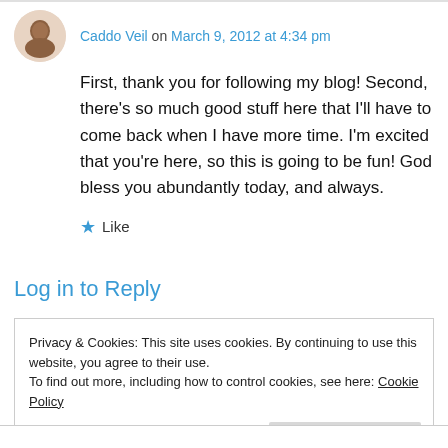Caddo Veil on March 9, 2012 at 4:34 pm
First, thank you for following my blog! Second, there's so much good stuff here that I'll have to come back when I have more time. I'm excited that you're here, so this is going to be fun! God bless you abundantly today, and always.
★ Like
Log in to Reply
Privacy & Cookies: This site uses cookies. By continuing to use this website, you agree to their use.
To find out more, including how to control cookies, see here: Cookie Policy